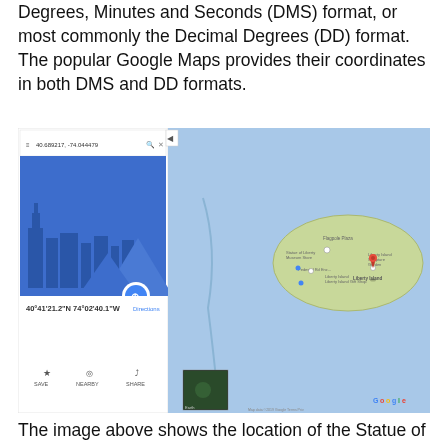Degrees, Minutes and Seconds (DMS) format, or most commonly the Decimal Degrees (DD) format. The popular Google Maps provides their coordinates in both DMS and DD formats.
[Figure (screenshot): Screenshot of Google Maps showing Liberty Island with coordinates 40.689217, -74.044479 in the search bar and 40°41'21.2"N 74°02'40.1"W displayed on the map panel, alongside a satellite/map view of Liberty Island with a red location pin.]
The image above shows the location of the Statue of